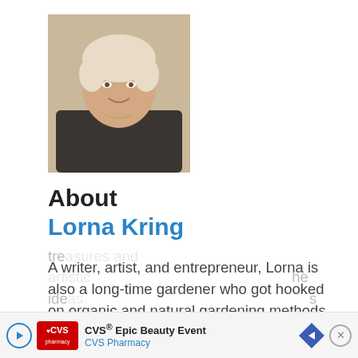[Figure (photo): Headshot of Lorna Kring, a woman with short light-colored hair, smiling, wearing a dark patterned top]
About
Lorna Kring
A writer, artist, and entrepreneur, Lorna is also a long-time gardener who got hooked on organic and natural gardening methods at an early age. These days, her vegetable garden is smaller to make room for decorative landscapes filled with color, fragrance, art, and hidden tre... ide...
[Figure (screenshot): CVS Epic Beauty Event advertisement banner with CVS Pharmacy logo, navigation arrow icon, and close button]